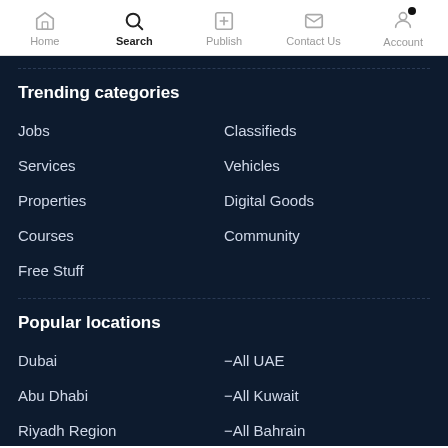Home | Search | Publish | Contact Us | Account
Trending categories
Jobs
Classifieds
Services
Vehicles
Properties
Digital Goods
Courses
Community
Free Stuff
Popular locations
Dubai
-All UAE
Abu Dhabi
-All Kuwait
Riyadh Region
-All Bahrain